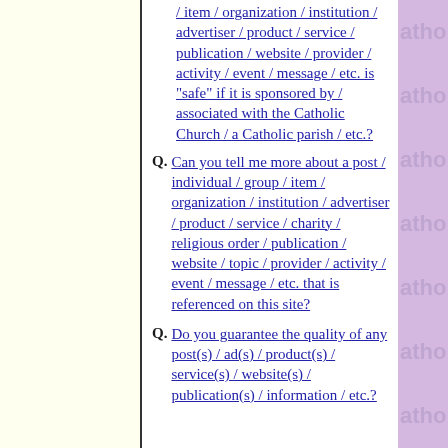/ item / organization / institution / advertiser / product / service / publication / website / provider / activity / event / message / etc. is "safe" if it is sponsored by / associated with the Catholic Church / a Catholic parish / etc.?
Q. Can you tell me more about a post / individual / group / item / organization / institution / advertiser / product / service / charity / religious order / publication / website / topic / provider / activity / event / message / etc. that is referenced on this site?
Q. Do you guarantee the quality of any post(s) / ad(s) / product(s) / service(s) / website(s) / publication(s) / information / etc.?